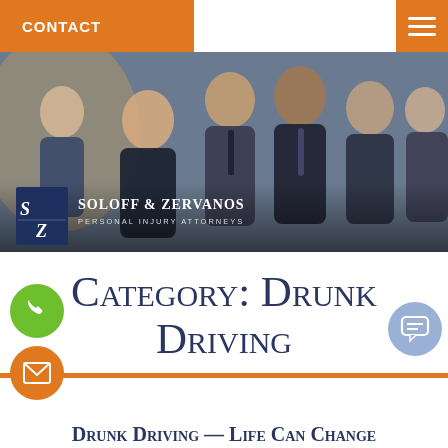CONTACT
[Figure (photo): Group photo of six attorneys in professional business attire in an office setting, with the Soloff & Zervanos Personal Injury Attorneys logo overlay.]
Category: Drunk Driving
Drunk Driving — Life Can Change